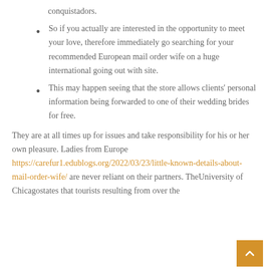conquistadors.
So if you actually are interested in the opportunity to meet your love, therefore immediately go searching for your recommended European mail order wife on a huge international going out with site.
This may happen seeing that the store allows clients' personal information being forwarded to one of their wedding brides for free.
They are at all times up for issues and take responsibility for his or her own pleasure. Ladies from Europe https://carefur1.edublogs.org/2022/03/23/little-known-details-about-mail-order-wife/ are never reliant on their partners. TheUniversity of Chicagostates that tourists resulting from over the